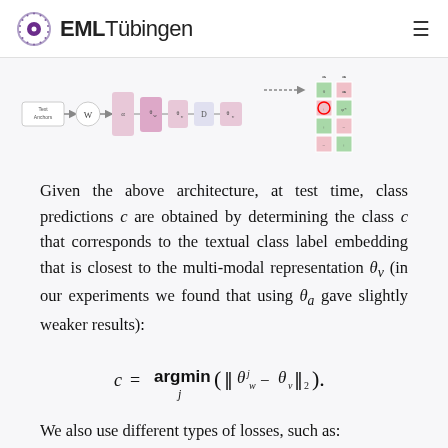EML Tübingen
[Figure (illustration): Neural network / multi-modal architecture diagram showing: 'Text Anchors' input flowing through a Wikipedia icon, then through pink encoder blocks labeled with Greek letters (α, θ_w, θ_v, D, θ_v), and on the right a grid of green and pink cells representing class label embeddings.]
Given the above architecture, at test time, class predictions c are obtained by determining the class c that corresponds to the textual class label embedding that is closest to the multi-modal representation θ_v (in our experiments we found that using θ_a gave slightly weaker results):
We also use different types of losses, such as: